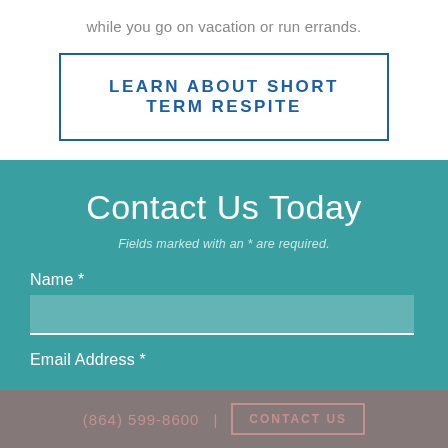while you go on vacation or run errands.
LEARN ABOUT SHORT TERM RESPITE
Contact Us Today
Fields marked with an * are required.
Name *
Email Address *
(864) 599-8600 | CONTACT US